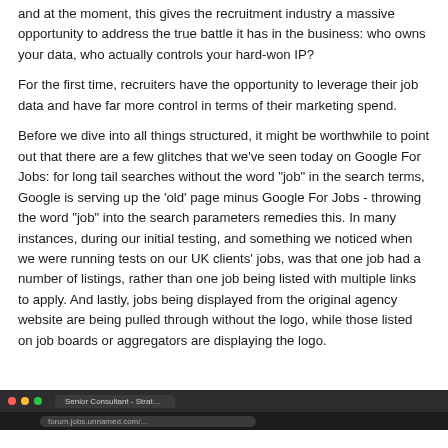and at the moment, this gives the recruitment industry a massive opportunity to address the true battle it has in the business: who owns your data, who actually controls your hard-won IP?
For the first time, recruiters have the opportunity to leverage their job data and have far more control in terms of their marketing spend.
Before we dive into all things structured, it might be worthwhile to point out that there are a few glitches that we've seen today on Google For Jobs: for long tail searches without the word "job" in the search terms, Google is serving up the 'old' page minus Google For Jobs - throwing the word "job" into the search parameters remedies this. In many instances, during our initial testing, and something we noticed when we were running tests on our UK clients' jobs, was that one job had a number of listings, rather than one job being listed with multiple links to apply. And lastly, jobs being displayed from the original agency website are being pulled through without the logo, while those listed on job boards or aggregators are displaying the logo.
[Figure (screenshot): Bottom portion of a browser window screenshot showing a dark browser chrome with red, yellow, green traffic light dots, a tab labeled 'Senior Consultant - Strateg...' and a URL bar.]